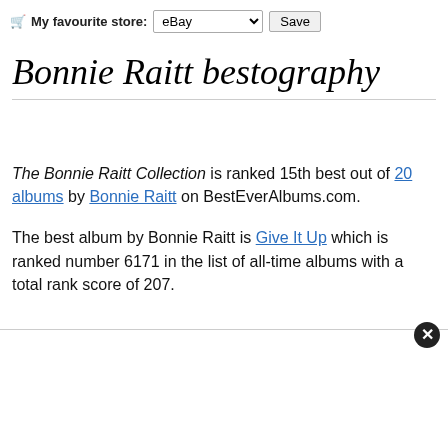My favourite store: eBay [Save]
Bonnie Raitt bestography
The Bonnie Raitt Collection is ranked 15th best out of 20 albums by Bonnie Raitt on BestEverAlbums.com.
The best album by Bonnie Raitt is Give It Up which is ranked number 6171 in the list of all-time albums with a total rank score of 207.